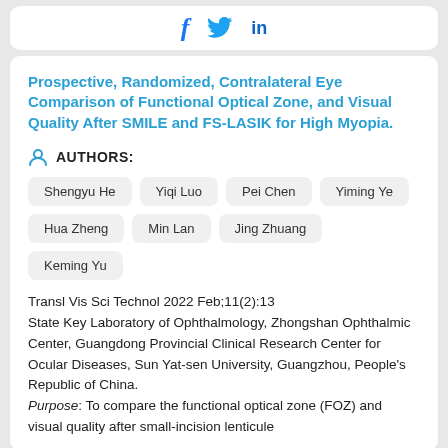[Figure (other): Social media share icons: Facebook (f), Twitter (bird), LinkedIn (in)]
Prospective, Randomized, Contralateral Eye Comparison of Functional Optical Zone, and Visual Quality After SMILE and FS-LASIK for High Myopia.
AUTHORS:
Shengyu He
Yiqi Luo
Pei Chen
Yiming Ye
Hua Zheng
Min Lan
Jing Zhuang
Keming Yu
Transl Vis Sci Technol 2022 Feb;11(2):13
State Key Laboratory of Ophthalmology, Zhongshan Ophthalmic Center, Guangdong Provincial Clinical Research Center for Ocular Diseases, Sun Yat-sen University, Guangzhou, People's Republic of China.
Purpose: To compare the functional optical zone (FOZ) and visual quality after small-incision lenticule